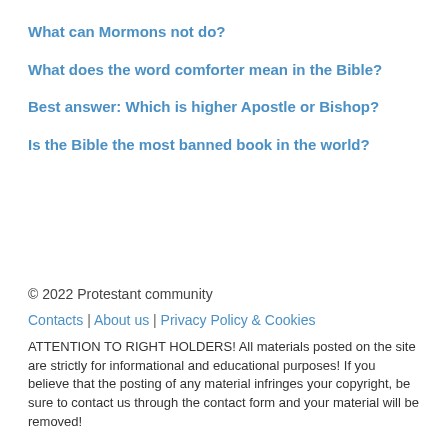What can Mormons not do?
What does the word comforter mean in the Bible?
Best answer: Which is higher Apostle or Bishop?
Is the Bible the most banned book in the world?
© 2022 Protestant community
Contacts | About us | Privacy Policy & Cookies
ATTENTION TO RIGHT HOLDERS! All materials posted on the site are strictly for informational and educational purposes! If you believe that the posting of any material infringes your copyright, be sure to contact us through the contact form and your material will be removed!